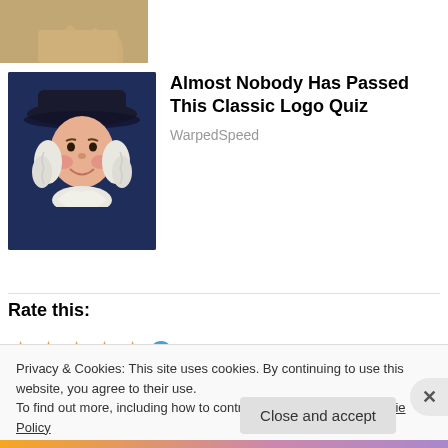[Figure (photo): Cropped photo of a hand with fingers extended against a green outdoor background]
[Figure (illustration): Illustration of the Quaker Oats man — a colonial-era figure wearing a wide-brimmed dark hat and white ruffled collar, with white curly hair and a friendly smile]
Almost Nobody Has Passed This Classic Logo Quiz
WarpedSpeed
Rate this:
5 Votes
Privacy & Cookies: This site uses cookies. By continuing to use this website, you agree to their use.
To find out more, including how to control cookies, see here: Cookie Policy